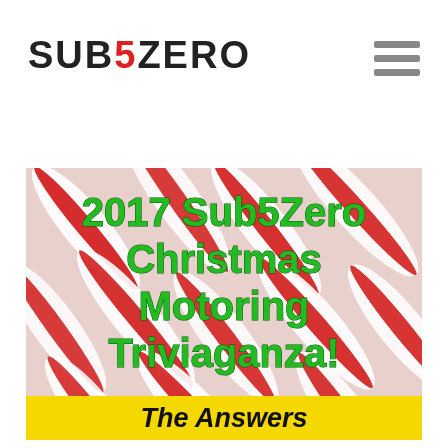SUB5ZERO
[Figure (photo): Candy canes background with overlaid text reading '2017 Sub5Zero Christmas Motoring Triviaganza! The Answers' in green bold font on a yellow banner]